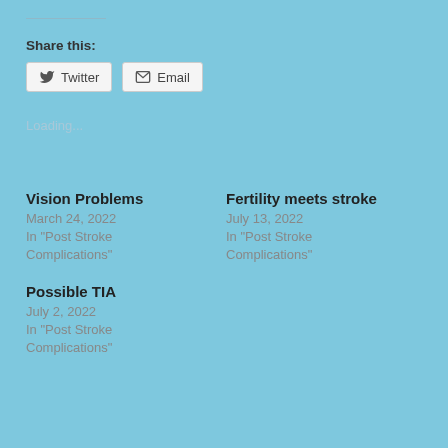Share this:
Twitter   Email
Loading...
Vision Problems
March 24, 2022
In "Post Stroke Complications"
Fertility meets stroke
July 13, 2022
In "Post Stroke Complications"
Possible TIA
July 2, 2022
In "Post Stroke Complications"